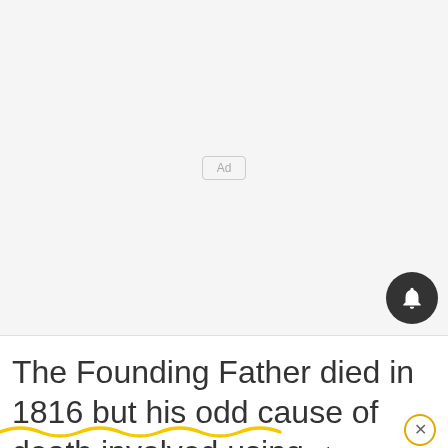[Figure (screenshot): Ad placeholder area — light gray background with 'Ad' label in a rounded rectangle, centered]
[Figure (other): Dark circular notification bell button in the lower right of the ad area]
The Founding Father died in 1816 but his odd cause of death involved using ◂
[Figure (other): Yellow wavy underline beneath the article text, with a close X button on the right]